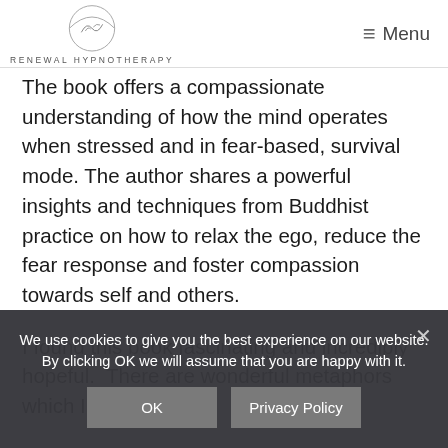RENEWAL HYPNOTHERAPY | Menu
The book offers a compassionate understanding of how the mind operates when stressed and in fear-based, survival mode. The author shares a powerful insights and techniques from Buddhist practice on how to relax the ego, reduce the fear response and foster compassion towards self and others.
I found this book fascinating and incredibly hopeful.  There are wonderful metaphors which I
We use cookies to give you the best experience on our website. By clicking OK we will assume that you are happy with it.